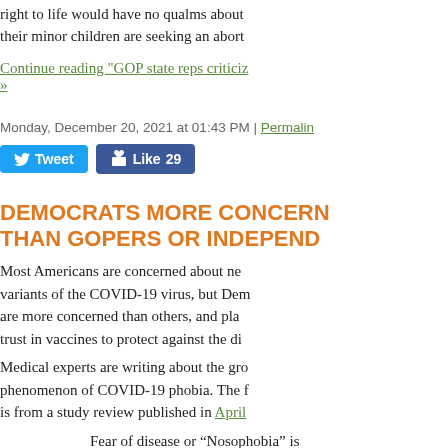right to life would have no qualms about their minor children are seeking an abort
Continue reading "GOP state reps criticiz »
Monday, December 20, 2021 at 01:43 PM | Permalink
[Figure (other): Tweet button and Like 29 social sharing buttons]
DEMOCRATS MORE CONCERN THAN GOPERS OR INDEPEND
Most Americans are concerned about new variants of the COVID-19 virus, but Dem are more concerned than others, and pla trust in vaccines to protect against the di
Medical experts are writing about the gr phenomenon of COVID-19 phobia. The is from a study review published in April Società Editrice Universo in Italy:
Fear of disease or “Nosophobia” is of psychological disorder in which person is afraid of getting a partic disease. People with this type of